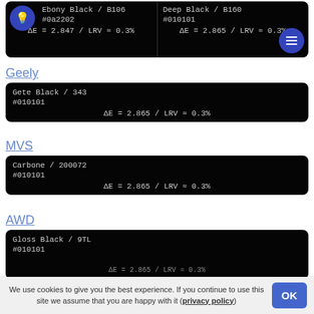[Figure (infographic): Two-column black card showing Ebony Black / B106 (#0a2202, ΔE=2.847/LRV≈0.3%) on left with lightbulb icon, and Deep Black / B160 (#010101, ΔE=2.865/LRV≈0.3%) on right with hamburger menu icon]
Geely
[Figure (infographic): Black card: Gete Black / 343, #010101, ΔE = 2.865 / LRV ≈ 0.3%]
MVS
[Figure (infographic): Black card: Carbone / 200072, #010101, ΔE = 2.865 / LRV ≈ 0.3%]
AWD
[Figure (infographic): Black card (partial): Gloss Black / 9TL, #010101, ΔE = 2.865 / LRV ≈ 0.3%]
We use cookies to give you the best experience. If you continue to use this site we assume that you are happy with it (privacy policy)